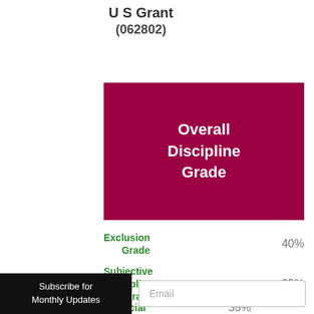U S Grant (062802)
Overall Discipline Grade
Exclusion Grade 40%
Subjective Discipline Grade 25%
Racial Disparity 35%
Subscribe for Monthly Updates
Email